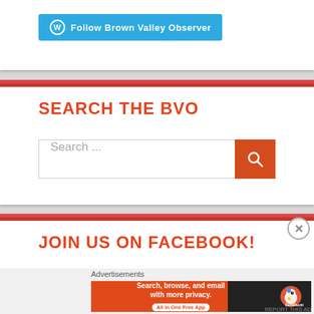[Figure (screenshot): WordPress Follow button with cyan background reading 'Follow Brown Valley Observer']
SEARCH THE BVO
[Figure (screenshot): Search input bar with placeholder 'Search ...' and orange search button with magnifying glass icon]
JOIN US ON FACEBOOK!
Advertisements
[Figure (screenshot): DuckDuckGo advertisement banner: 'Search, browse, and email with more privacy. All in One Free App' with DuckDuckGo duck logo on dark background]